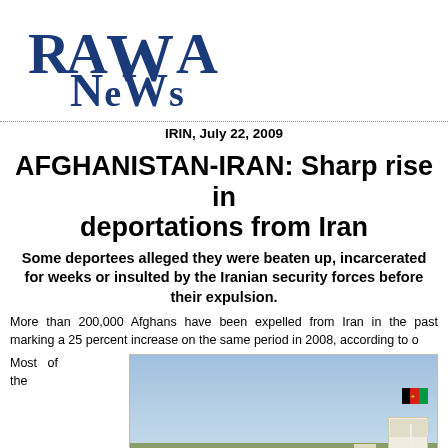[Figure (logo): RAWA News logo in blue serif font]
IRIN, July 22, 2009
AFGHANISTAN-IRAN: Sharp rise in deportations from Iran
Some deportees alleged they were beaten up, incarcerated for weeks or insulted by the Iranian security forces before their expulsion.
More than 200,000 Afghans have been expelled from Iran in the past marking a 25 percent increase on the same period in 2008, according to o
Most of the
[Figure (photo): Outdoor scene showing people gathered near a border crossing area with buildings, flag, vegetation, and a vehicle. Sky is light blue.]